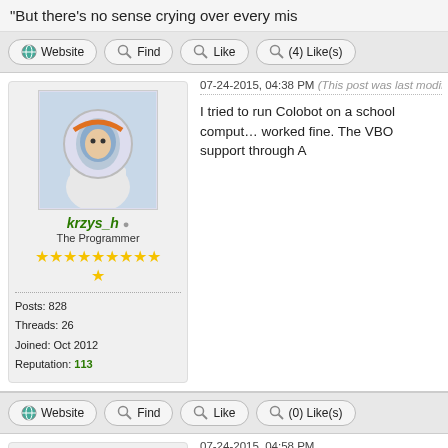"But there's no sense crying over every mis
Website | Find | Like | (4) Like(s)
07-24-2015, 04:38 PM (This post was last modified: 07...
[Figure (photo): Avatar of user krzys_h - a person in a white spacesuit helmet]
krzys_h
The Programmer
Posts: 828
Threads: 26
Joined: Oct 2012
Reputation: 113
I tried to run Colobot on a school comput... worked fine. The VBO support through A
Website | Find | Like | (0) Like(s)
07-24-2015, 04:58 PM
[Figure (photo): Avatar showing a green circle with a raptor dinosaur and text RAPTOR]
Well, in reality on Devoxx4Kids 2014 we... about 2009-2010 with Intel integrated G...